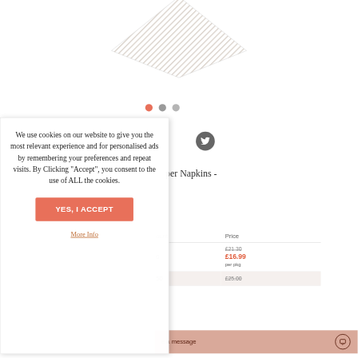[Figure (illustration): Diamond/chevron shape with textured fabric pattern, displayed as carousel slide at the top of the page]
[Figure (other): Three carousel indicator dots: first is salmon/coral (active), second and third are gray]
per Napkins -
| ount | Price |
| --- | --- |
| 0 | £21.30 (strikethrough)
£16.99
per pkg |
| 50 | £25.00 (strikethrough) |
We use cookies on our website to give you the most relevant experience and for personalised ads by remembering your preferences and repeat visits. By Clicking "Accept", you consent to the use of ALL the cookies.
YES, I ACCEPT
More Info
e a message